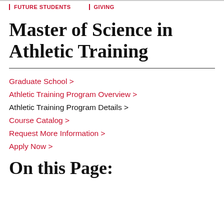FUTURE STUDENTS | GIVING
Master of Science in Athletic Training
Graduate School >
Athletic Training Program Overview >
Athletic Training Program Details >
Course Catalog >
Request More Information >
Apply Now >
On this Page: